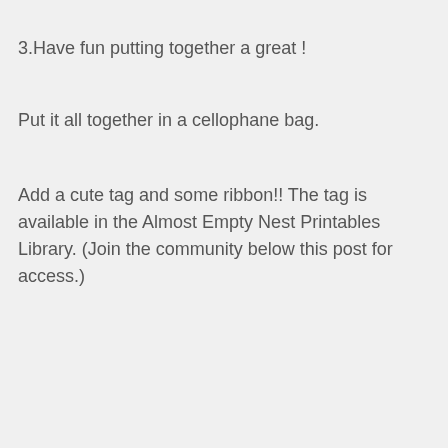3.Have fun putting together a great !
Put it all together in a cellophane bag.
Add a cute tag and some ribbon!! The tag is available in the Almost Empty Nest Printables Library. (Join the community below this post for access.)